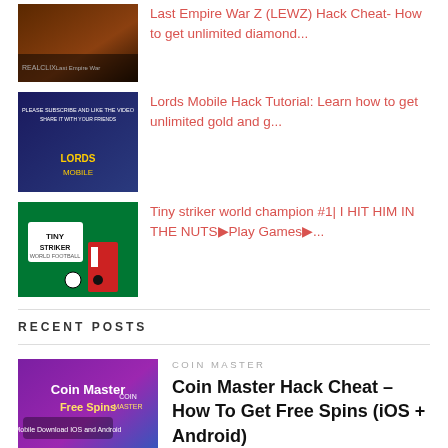[Figure (screenshot): Thumbnail for Last Empire War Z hack article]
Last Empire War Z (LEWZ) Hack Cheat- How to get unlimited diamond...
[Figure (screenshot): Thumbnail for Lords Mobile Hack Tutorial article]
Lords Mobile Hack Tutorial: Learn how to get unlimited gold and g...
[Figure (screenshot): Thumbnail for Tiny Striker World Football article]
Tiny striker world champion #1| I HIT HIM IN THE NUTSPlay GamesPlay Games...
RECENT POSTS
[Figure (screenshot): Thumbnail for Coin Master Hack Cheat article showing Coin Master Free Spins]
COIN MASTER
Coin Master Hack Cheat – How To Get Free Spins (iOS + Android)